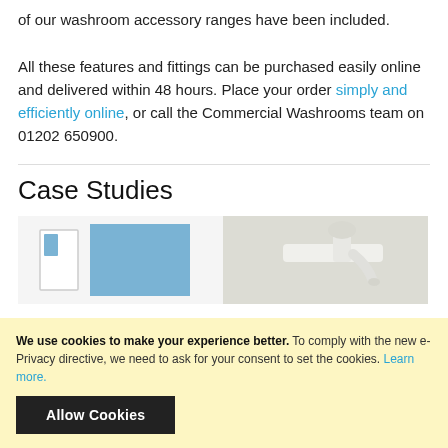of our washroom accessory ranges have been included. All these features and fittings can be purchased easily online and delivered within 48 hours. Place your order simply and efficiently online, or call the Commercial Washrooms team on 01202 650900.
Case Studies
[Figure (photo): Two side-by-side images: left shows a white door with a small blue window panel and a blue rectangular block shape, right shows a close-up of white washroom tap/fitting hardware on a light background.]
We use cookies to make your experience better. To comply with the new e-Privacy directive, we need to ask for your consent to set the cookies. Learn more.
Allow Cookies